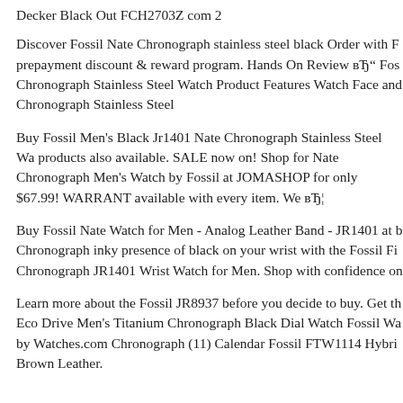Decker Black Out FCH2703Z com 2
Discover Fossil Nate Chronograph stainless steel black Order with F prepayment discount & reward program. Hands On Review вЂ" Fos Chronograph Stainless Steel Watch Product Features Watch Face and Chronograph Stainless Steel
Buy Fossil Men's Black Jr1401 Nate Chronograph Stainless Steel Wa products also available. SALE now on! Shop for Nate Chronograph Men's Watch by Fossil at JOMASHOP for only $67.99! WARRANT available with every item. We вЂ¦
Buy Fossil Nate Watch for Men - Analog Leather Band - JR1401 at b Chronograph inky presence of black on your wrist with the Fossil Fi Chronograph JR1401 Wrist Watch for Men. Shop with confidence on
Learn more about the Fossil JR8937 before you decide to buy. Get th Eco Drive Men's Titanium Chronograph Black Dial Watch Fossil Wa by Watches.com Chronograph (11) Calendar Fossil FTW1114 Hybri Brown Leather.